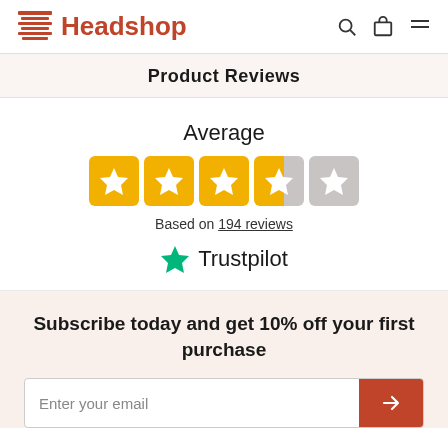Headshop
Product Reviews
Average
[Figure (other): 5-star rating display showing 3.5 out of 5 stars (four filled yellow stars, one half-filled star, one empty star)]
Based on 194 reviews
[Figure (logo): Trustpilot logo with green star]
Subscribe today and get 10% off your first purchase
Enter your email